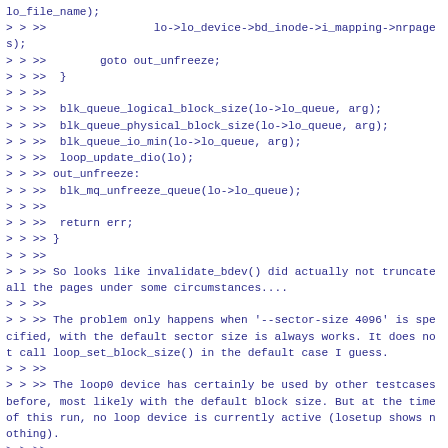> > >>                lo->lo_device->bd_inode->i_mapping->nrpages);
> > >>        goto out_unfreeze;
> > >>  }
> > >>
> > >>  blk_queue_logical_block_size(lo->lo_queue, arg);
> > >>  blk_queue_physical_block_size(lo->lo_queue, arg);
> > >>  blk_queue_io_min(lo->lo_queue, arg);
> > >>  loop_update_dio(lo);
> > >> out_unfreeze:
> > >>  blk_mq_unfreeze_queue(lo->lo_queue);
> > >>
> > >>  return err;
> > >> }
> > >>
> > >> So looks like invalidate_bdev() did actually not truncate all the pages under some circumstances....
> > >>
> > >> The problem only happens when '--sector-size 4096' is specified, with the default sector size is always works. It does not call loop_set_block_size() in the default case I guess.
> > >>
> > >> The loop0 device has certainly be used by other testcases before, most likely with the default block size. But at the time of this run, no loop device is currently active (losetup shows nothing).
> > >>